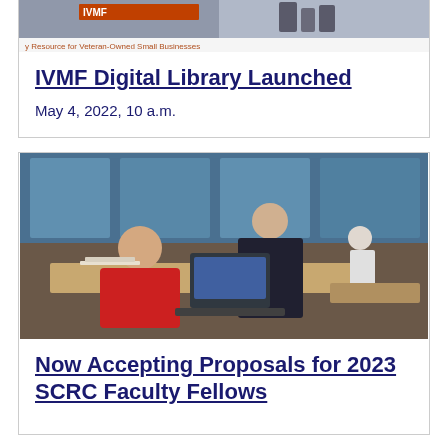[Figure (photo): IVMF Digital Library cover image with text: 'y Resource for Veteran-Owned Small Businesses']
IVMF Digital Library Launched
May 4, 2022, 10 a.m.
[Figure (photo): Classroom scene: older man in black leaning over a seated younger man working at a laptop/desk; other students visible in background]
Now Accepting Proposals for 2023 SCRC Faculty Fellows